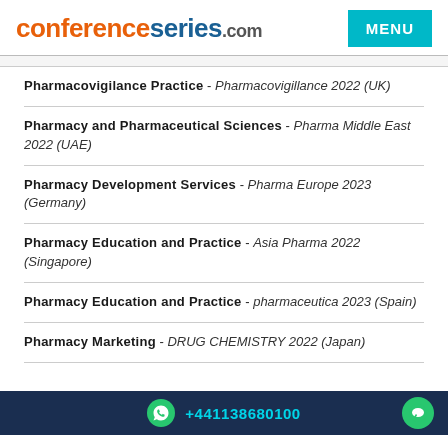conferenceseries.com
Pharmacovigilance Practice - Pharmacovigillance 2022 (UK)
Pharmacy and Pharmaceutical Sciences - Pharma Middle East 2022 (UAE)
Pharmacy Development Services - Pharma Europe 2023 (Germany)
Pharmacy Education and Practice - Asia Pharma 2022 (Singapore)
Pharmacy Education and Practice - pharmaceutica 2023 (Spain)
Pharmacy Marketing - DRUG CHEMISTRY 2022 (Japan)
+441138680100